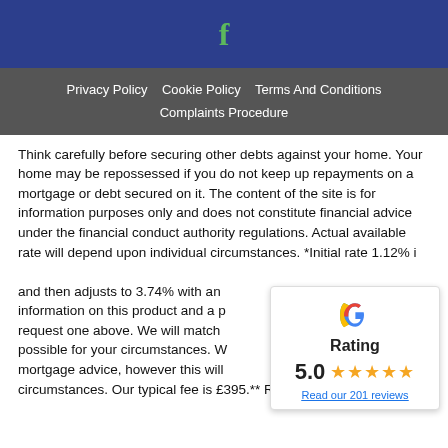[Figure (logo): Facebook 'f' icon in green on blue header background]
Privacy Policy   Cookie Policy   Terms And Conditions   Complaints Procedure
Think carefully before securing other debts against your home. Your home may be repossessed if you do not keep up repayments on a mortgage or debt secured on it. The content of the site is for information purposes only and does not constitute financial advice under the financial conduct authority regulations. Actual available rate will depend upon individual circumstances. *Initial rate 1.12% is available in different and then adjusts to 3.74% with an information on this product and a p request one above. We will match possible for your circumstances. W mortgage advice, however this will circumstances. Our typical fee is £395.** Refer a friend
[Figure (infographic): Google rating widget showing 5.0 stars with 5 gold stars and a link to Read our 201 reviews]